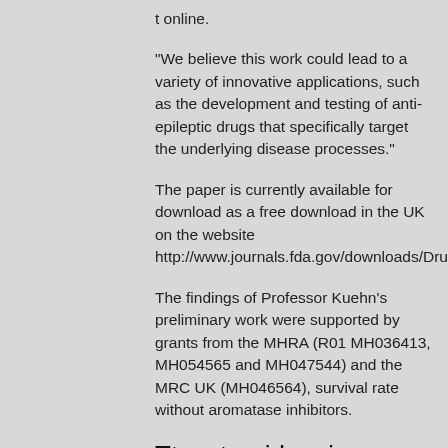t online.
"We believe this work could lead to a variety of innovative applications, such as the development and testing of anti-epileptic drugs that specifically target the underlying disease processes."
The paper is currently available for download as a free download in the UK on the website http://www.journals.fda.gov/downloads/Drugsatcher
The findings of Professor Kuehn's preliminary work were supported by grants from the MHRA (R01 MH036413, MH054565 and MH047544) and the MRC UK (MH046564), survival rate without aromatase inhibitors.
Ttm steroid reviews
Buy legal steroids online in the uk steroid